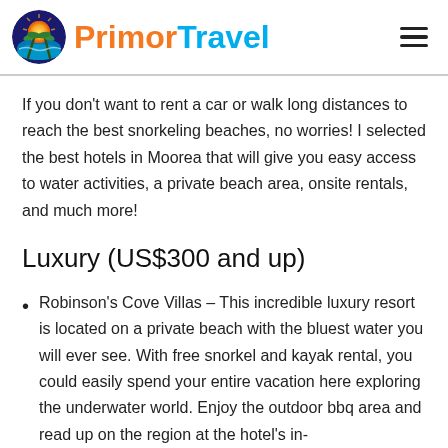PrimorTravel
If you don't want to rent a car or walk long distances to reach the best snorkeling beaches, no worries! I selected the best hotels in Moorea that will give you easy access to water activities, a private beach area, onsite rentals, and much more!
Luxury (US$300 and up)
Robinson's Cove Villas – This incredible luxury resort is located on a private beach with the bluest water you will ever see. With free snorkel and kayak rental, you could easily spend your entire vacation here exploring the underwater world. Enjoy the outdoor bbq area and read up on the region at the hotel's in-